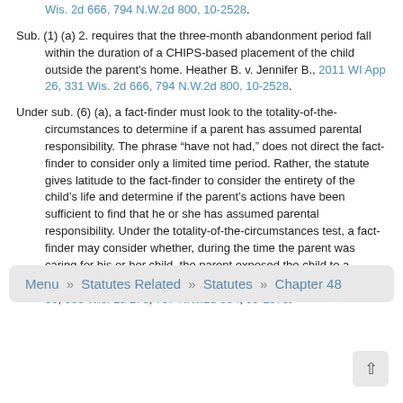Wis. 2d 666, 794 N.W.2d 800, 10-2528.
Sub. (1) (a) 2. requires that the three-month abandonment period fall within the duration of a CHIPS-based placement of the child outside the parent's home. Heather B. v. Jennifer B., 2011 WI App 26, 331 Wis. 2d 666, 794 N.W.2d 800, 10-2528.
Under sub. (6) (a), a fact-finder must look to the totality-of-the-circumstances to determine if a parent has assumed parental responsibility. The phrase “have not had,” does not direct the fact-finder to consider only a limited time period. Rather, the statute gives latitude to the fact-finder to consider the entirety of the child’s life and determine if the parent’s actions have been sufficient to find that he or she has assumed parental responsibility. Under the totality-of-the-circumstances test, a fact-finder may consider whether, during the time the parent was caring for his or her child, the parent exposed the child to a hazardous living environment. Tammy W-G. v. Jacob T., 2011 WI 30, 333 Wis. 2d 273, 797 N.W.2d 854, 09-2973.
Menu » Statutes Related » Statutes » Chapter 48